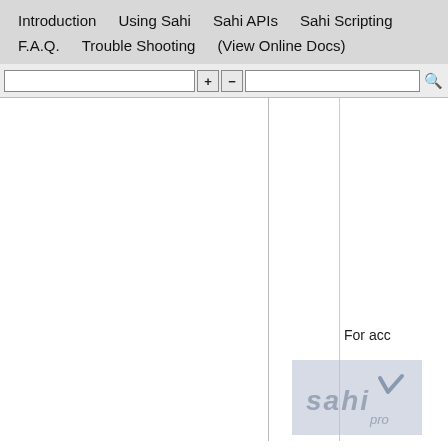Introduction   Using Sahi   Sahi APIs   Sahi Scripting
F.A.Q.   Trouble Shooting   (View Online Docs)
[Figure (screenshot): Toolbar with a text input box, plus and minus buttons, a search input box, and a search icon]
For acc
[Figure (logo): Sahi Pro logo with checkmark on blue-grey background]